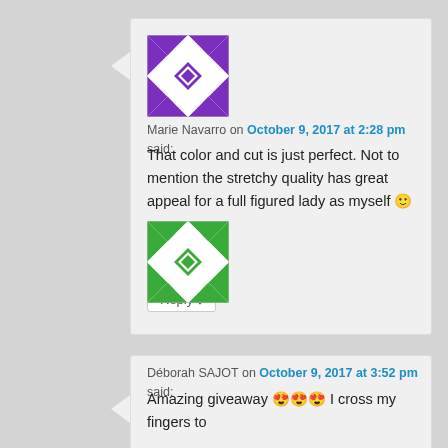[Figure (illustration): Purple and white geometric quilt-pattern avatar for Marie Navarro]
Marie Navarro on October 9, 2017 at 2:28 pm said:
That color and cut is just perfect. Not to mention the stretchy quality has great appeal for a full figured lady as myself 🙂
★ Like
Reply ↓
[Figure (illustration): Green and white geometric quilt-pattern avatar for Déborah SAJOT]
Déborah SAJOT on October 9, 2017 at 3:52 pm said:
Amazing giveaway 😍😍😍 I cross my fingers to